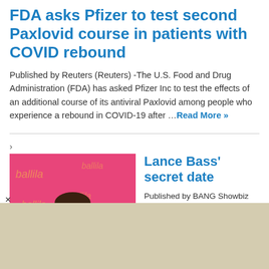FDA asks Pfizer to test second Paxlovid course in patients with COVID rebound
Published by Reuters (Reuters) -The U.S. Food and Drug Administration (FDA) has asked Pfizer Inc to test the effects of an additional course of its antiviral Paxlovid among people who experience a rebound in COVID-19 after … Read More »
[Figure (photo): Photo of Lance Bass in a yellow/green plaid blazer standing in front of a pink backdrop]
Lance Bass' secret date
Published by BANG Showbiz English Steps' Ian 'H' Watkins once went on a secret date with NYSNC's Lance Bass. The 46-year-